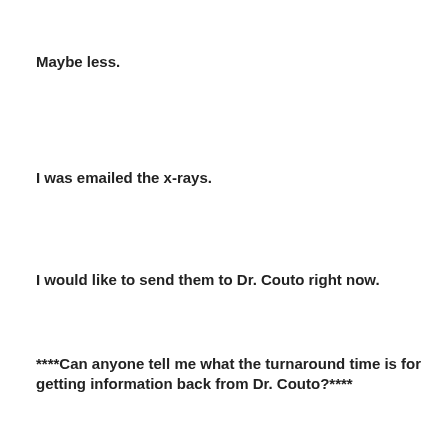Maybe less.
I was emailed the x-rays.
I would like to send them to Dr. Couto right now.
****Can anyone tell me what the turnaround time is for getting information back from Dr. Couto?****